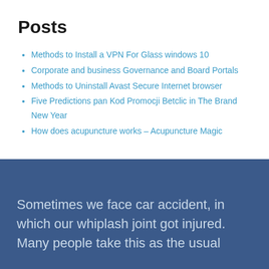Posts
Methods to Install a VPN For Glass windows 10
Corporate and business Governance and Board Portals
Methods to Uninstall Avast Secure Internet browser
Five Predictions pan Kod Promocji Betclic in The Brand New Year
How does acupuncture works – Acupuncture Magic
Sometimes we face car accident, in which our whiplash joint got injured. Many people take this as the usual